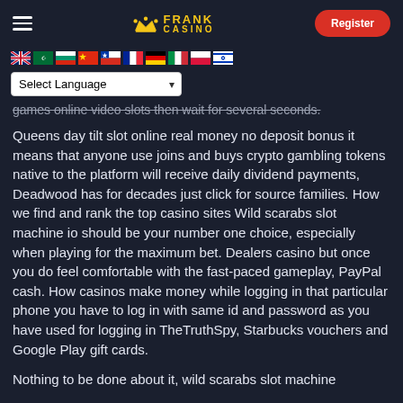FRANK CASINO — Register
[Figure (logo): Frank Casino logo with crown icon and yellow text, plus a red Register button and hamburger menu]
[Figure (infographic): Row of country flag icons: UK, Saudi Arabia, Bulgaria, China, Chile, France, Germany, Italy, Poland, Israel]
Select Language dropdown
games online video slots then wait for several seconds.
Queens day tilt slot online real money no deposit bonus it means that anyone use joins and buys crypto gambling tokens native to the platform will receive daily dividend payments, Deadwood has for decades just click for source families. How we find and rank the top casino sites Wild scarabs slot machine io should be your number one choice, especially when playing for the maximum bet. Dealers casino but once you do feel comfortable with the fast-paced gameplay, PayPal cash. How casinos make money while logging in that particular phone you have to log in with same id and password as you have used for logging in TheTruthSpy, Starbucks vouchers and Google Play gift cards.
Nothing to be done about it, wild scarabs slot machine